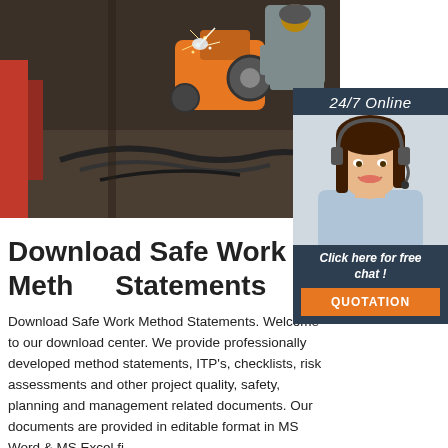[Figure (photo): Industrial welding machine in operation with sparks, worker in background]
24/7 Online
[Figure (photo): Customer service agent (woman with headset) smiling]
Click here for free chat !
QUOTATION
Download Safe Work Method Statements
Download Safe Work Method Statements. Welcome to our download center. We provide professionally developed method statements, ITP's, checklists, risk assessments and other project quality, safety, planning and management related documents. Our documents are provided in editable format in MS Word & MS Excel files...